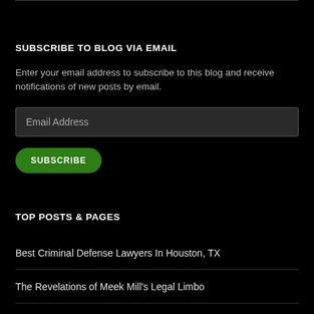SUBSCRIBE TO BLOG VIA EMAIL
Enter your email address to subscribe to this blog and receive notifications of new posts by email.
TOP POSTS & PAGES
Best Criminal Defense Lawyers In Houston, TX
The Revelations of Meek Mill's Legal Limbo
Syrian Refugees To Arrive in Texas Despite Governor's Lawsuit